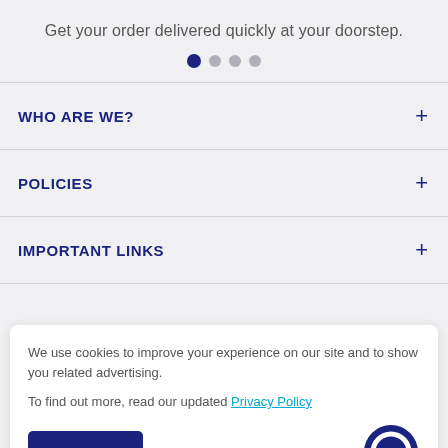Get your order delivered quickly at your doorstep.
[Figure (other): Carousel pagination dots: one filled dark blue dot and three gray dots]
WHO ARE WE?
POLICIES
IMPORTANT LINKS
We use cookies to improve your experience on our site and to show you related advertising.

To find out more, read our updated Privacy Policy
Accept
offers, newly added products, collection, and many more